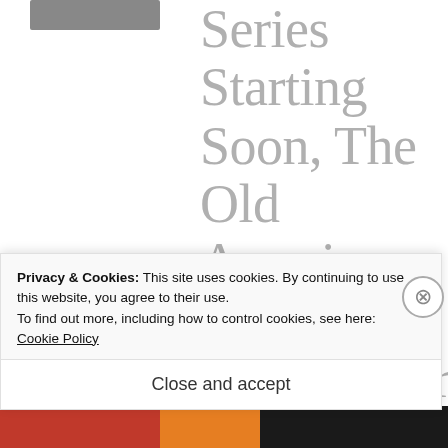Series Starting Soon, The Old American Artist, with Commentary – © Felipe Adan Lerma – All Rights Reserved – Blogging at WordPress Since
Privacy & Cookies: This site uses cookies. By continuing to use this website, you agree to their use.
To find out more, including how to control cookies, see here:
Cookie Policy
Close and accept